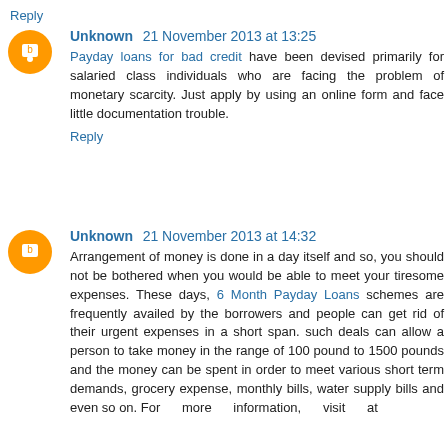Reply
Unknown 21 November 2013 at 13:25
Payday loans for bad credit have been devised primarily for salaried class individuals who are facing the problem of monetary scarcity. Just apply by using an online form and face little documentation trouble.
Reply
Unknown 21 November 2013 at 14:32
Arrangement of money is done in a day itself and so, you should not be bothered when you would be able to meet your tiresome expenses. These days, 6 Month Payday Loans schemes are frequently availed by the borrowers and people can get rid of their urgent expenses in a short span. such deals can allow a person to take money in the range of 100 pound to 1500 pounds and the money can be spent in order to meet various short term demands, grocery expense, monthly bills, water supply bills and even so on. For more information, visit at